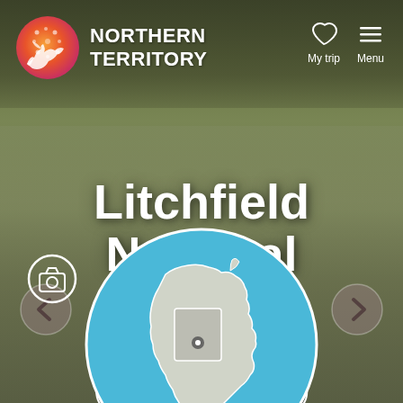[Figure (screenshot): Northern Territory tourism website screenshot showing Litchfield National Park hero page with blurred waterfall background, NT logo, navigation icons, title, Add to my trip button, and Australia map circle]
NORTHERN TERRITORY
Litchfield National Park
Add to my trip